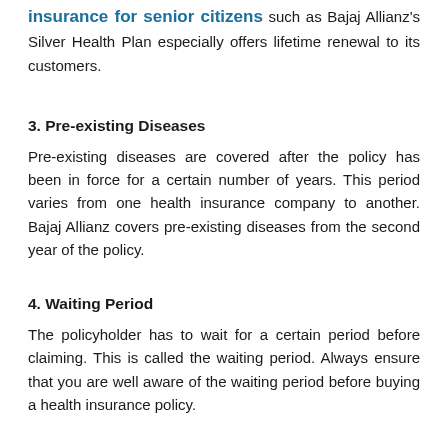insurance for senior citizens such as Bajaj Allianz's Silver Health Plan especially offers lifetime renewal to its customers.
3. Pre-existing Diseases
Pre-existing diseases are covered after the policy has been in force for a certain number of years. This period varies from one health insurance company to another. Bajaj Allianz covers pre-existing diseases from the second year of the policy.
4. Waiting Period
The policyholder has to wait for a certain period before claiming. This is called the waiting period. Always ensure that you are well aware of the waiting period before buying a health insurance policy.
5. Sub-Limit